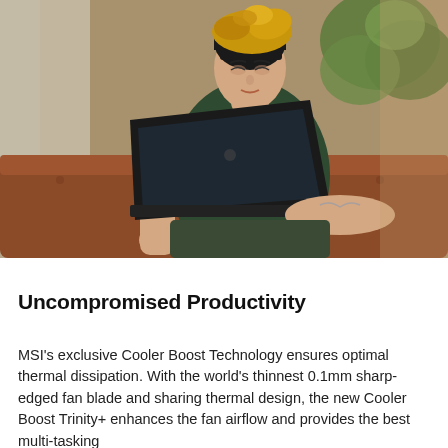[Figure (photo): A young woman with a yellow turban headband and floral shirt sits on a brown leather sofa using a dark laptop. Plants and a window with natural light are visible in the background.]
Uncompromised Productivity
MSI's exclusive Cooler Boost Technology ensures optimal thermal dissipation. With the world's thinnest 0.1mm sharp-edged fan blade and sharing thermal design, the new Cooler Boost Trinity+ enhances the fan airflow and provides the best multi-tasking